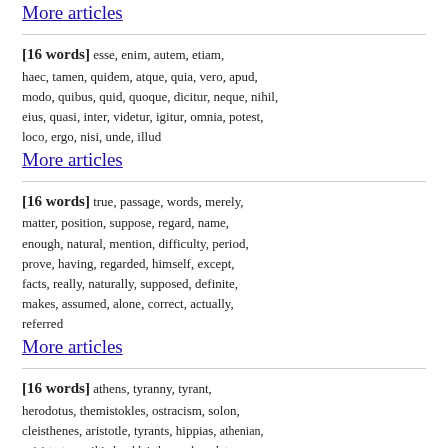wrestling, stadium, prize, events, olympic, gardner, competition, pausanias, athlete, boxing, prizes, circus, gladiatorial, olympic_games, spectators, victories
More articles
[16 words] esse, enim, autem, etiam, haec, tamen, quidem, atque, quia, vero, apud, modo, quibus, quid, quoque, dicitur, neque, nihil, eius, quasi, inter, videtur, igitur, omnia, potest, loco, ergo, nisi, unde, illud
More articles
[16 words] true, passage, words, merely, matter, position, suppose, regard, name, enough, natural, mention, difficulty, period, prove, having, regarded, himself, except, facts, really, naturally, supposed, definite, makes, assumed, alone, correct, actually, referred
More articles
[16 words] athens, tyranny, tyrant, herodotus, themistokles, ostracism, solon, cleisthenes, aristotle, tyrants, hippias, athenian, peisistratos, miltiades, kleisthenes, herodotos,